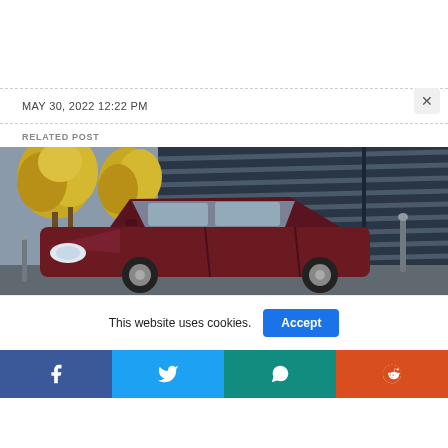MAY 30, 2022 12:22 PM
RELATED POST
[Figure (photo): A dark red/maroon SUV parked in front of a modern glass building with yellow autumn trees on the left side]
This website uses cookies.
Accept
[Figure (infographic): Social media share bar with Facebook, Twitter, WhatsApp, and Reddit icons]